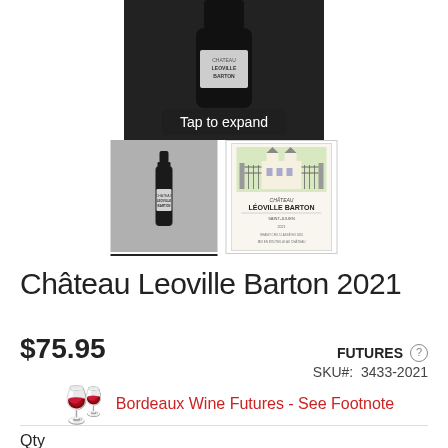[Figure (photo): Top portion of a dark wine bottle with a 'Tap to expand' overlay button at the bottom]
[Figure (photo): Thumbnail of wine bottle on gray background]
[Figure (photo): Thumbnail of Château Leoville Barton wine label showing château building and iron gates]
Château Leoville Barton 2021
$75.95
FUTURES
SKU#: 3433-2021
Bordeaux Wine Futures - See Footnote
Qty